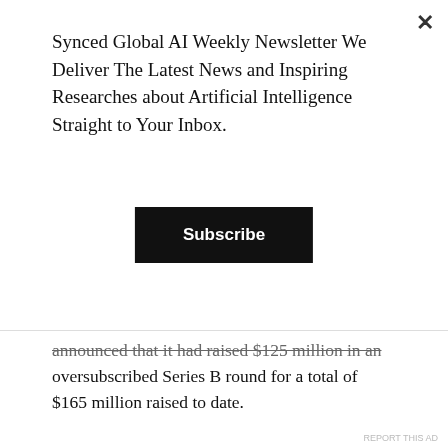Synced Global AI Weekly Newsletter We Deliver The Latest News and Inspiring Researches about Artificial Intelligence Straight to Your Inbox.
Subscribe
announced that it had raised $125 million in an oversubscribed Series B round for a total of $165 million raised to date.
Advertisements
[Figure (photo): Red advertisement banner for a podcast/audio app showing a phone with 'Distributed' text and tagline 'An app by listeners, for listeners.']
Advertisements